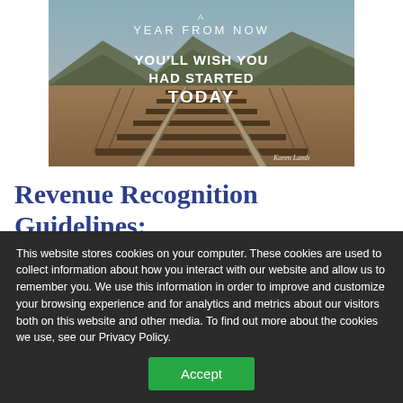[Figure (photo): Motivational image of railway tracks vanishing into the distance with overlaid white text reading 'A YEAR FROM NOW YOU'LL WISH YOU HAD STARTED TODAY' with a signature 'Karen Lamb']
Revenue Recognition Guidelines: The Time Is Now
BY SOFTRAY
This website stores cookies on your computer. These cookies are used to collect information about how you interact with our website and allow us to remember you. We use this information in order to improve and customize your browsing experience and for analytics and metrics about our visitors both on this website and other media. To find out more about the cookies we use, see our Privacy Policy.